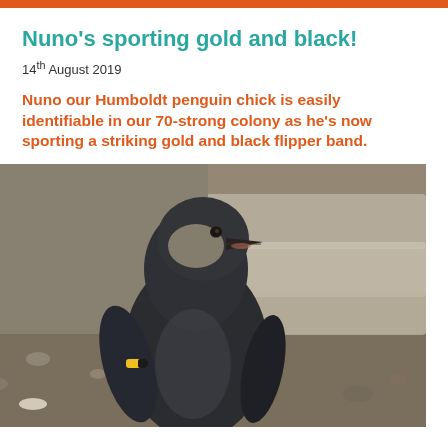Nuno’s sporting gold and black!
14th August 2019
Nuno our Humboldt penguin chick is easily identifiable in our 70-strong colony as he’s now sporting a striking gold and black flipper band.
[Figure (photo): Close-up photograph of Nuno the Humboldt penguin chick standing in a zoo enclosure. The young penguin has dark grey-brown plumage, a short beak, and a visible gold and black flipper band on its left flipper. The background shows grey stone steps and gravelly ground with scattered leaves.]